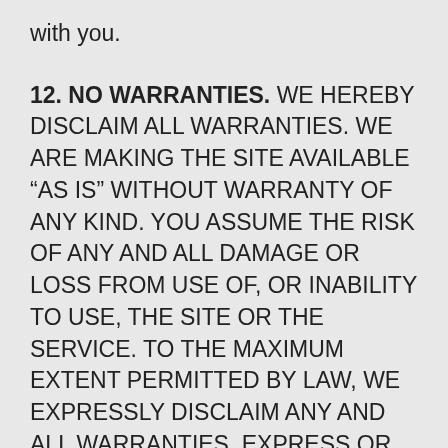with you.
12. NO WARRANTIES. WE HEREBY DISCLAIM ALL WARRANTIES. WE ARE MAKING THE SITE AVAILABLE “AS IS” WITHOUT WARRANTY OF ANY KIND. YOU ASSUME THE RISK OF ANY AND ALL DAMAGE OR LOSS FROM USE OF, OR INABILITY TO USE, THE SITE OR THE SERVICE. TO THE MAXIMUM EXTENT PERMITTED BY LAW, WE EXPRESSLY DISCLAIM ANY AND ALL WARRANTIES, EXPRESS OR IMPLIED, REGARDING THE SITE, INCLUDING, BUT NOT LIMITED TO, ANY IMPLIED WARRANTIES OF MERCHANTABILITY, FITNESS FOR A PARTICULAR PURPOSE, OR NONINFRINGEMENT. WE DO NOT WARRANT THAT THE SITE OR THE SERVICE WILL MEET